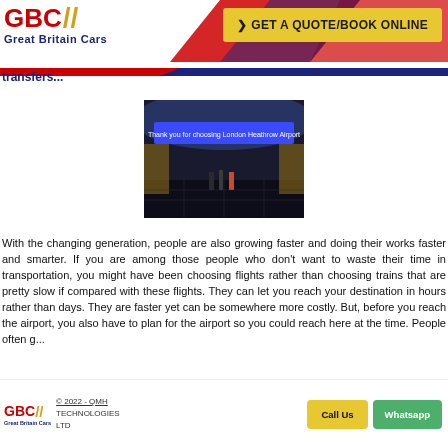GBC// Great Britain Cars — GET A QUOTE/BOOK ONLINE
transfers...
[Figure (photo): Interior of London Heathrow Airport with a blue LED sign reading 'Thank you for choosing London Heathrow Airport'. People walking in the terminal.]
With the changing generation, people are also growing faster and doing their works faster and smarter. If you are among those people who don't want to waste their time in transportation,  you might have been choosing flights rather than choosing trains that are pretty slow if compared with these flights. They can let you reach your destination in hours rather than days. They are faster yet can be somewhere more costly. But, before you reach the airport, you also have to plan for the airport so you could reach here at the time. People often g...
© 2022 - QMH TECHNOLOGIES LTD   Call Us   Whatsapp